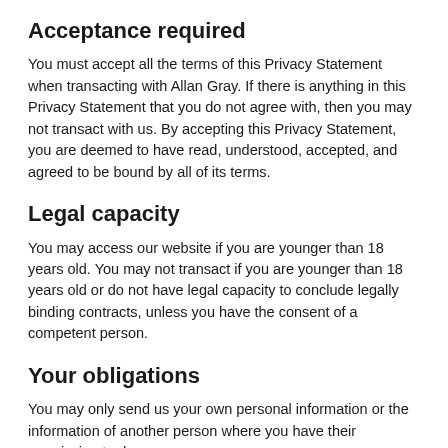Acceptance required
You must accept all the terms of this Privacy Statement when transacting with Allan Gray. If there is anything in this Privacy Statement that you do not agree with, then you may not transact with us. By accepting this Privacy Statement, you are deemed to have read, understood, accepted, and agreed to be bound by all of its terms.
Legal capacity
You may access our website if you are younger than 18 years old. You may not transact if you are younger than 18 years old or do not have legal capacity to conclude legally binding contracts, unless you have the consent of a competent person.
Your obligations
You may only send us your own personal information or the information of another person where you have their permission to do so.